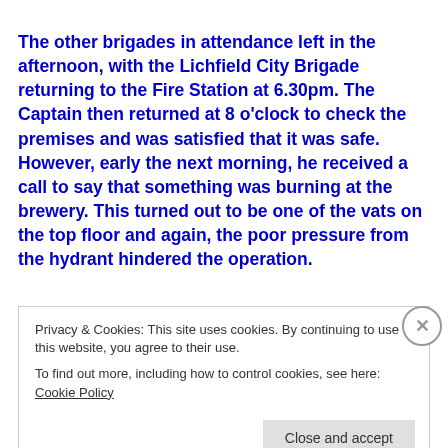The other brigades in attendance left in the afternoon, with the Lichfield City Brigade returning to the Fire Station at 6.30pm. The Captain then returned at 8 o'clock to check the premises and was satisfied that it was safe. However, early the next morning, he received a call to say that something was burning at the brewery. This turned out to be one of the vats on the top floor and again, the poor pressure from the hydrant hindered the operation.
Privacy & Cookies: This site uses cookies. By continuing to use this website, you agree to their use.
To find out more, including how to control cookies, see here: Cookie Policy
Close and accept